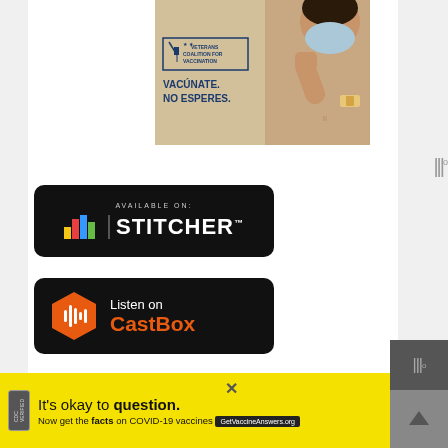[Figure (photo): Veterans Coalition for Vaccination advertisement showing a person flexing their arm with a bandage after vaccination, wearing a mask. Text reads 'VETERANS COALITION FOR VACCINATION' and 'VACÚNATE. NO ESPERES.']
[Figure (logo): Stitcher podcast app badge on black background. Text reads 'AVAILABLE ON: STITCHER' with colorful bar icons.]
[Figure (logo): CastBox podcast app badge on black background. Orange hexagon logo with text 'Listen on CastBox'.]
[Figure (screenshot): Bottom advertisement banner with yellow background. Text reads 'It’s okay to question. Now get the facts on COVID-19 vaccines GetVaccineAnswers.org']